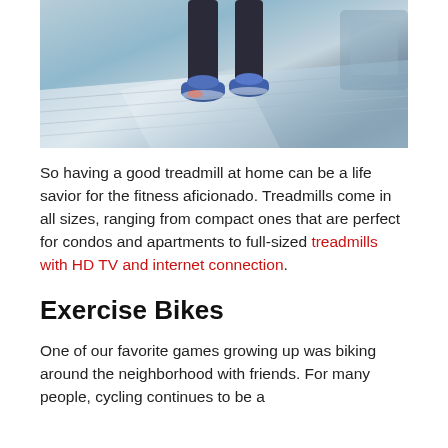[Figure (photo): Close-up photo of a person's feet and lower legs on a treadmill, wearing blue and red sneakers, treadmill belt visible]
So having a good treadmill at home can be a life savior for the fitness aficionado. Treadmills come in all sizes, ranging from compact ones that are perfect for condos and apartments to full-sized treadmills with HD TV and internet connection.
Exercise Bikes
One of our favorite games growing up was biking around the neighborhood with friends. For many people, cycling continues to be a